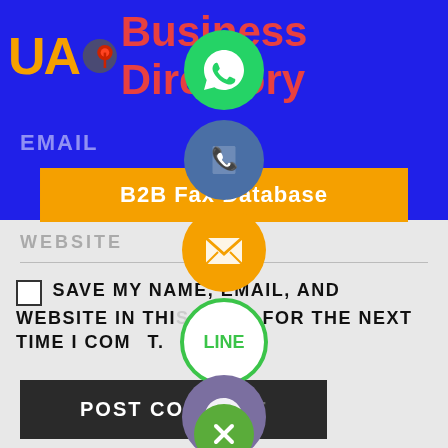[Figure (screenshot): UA Business Directory website screenshot with social contact icons overlay (WhatsApp, phone, email, LINE, Viber, close) and a comment form showing EMAIL field, B2B Fax Database button, WEBSITE field, save my name checkbox text, and POST COMMENT button.]